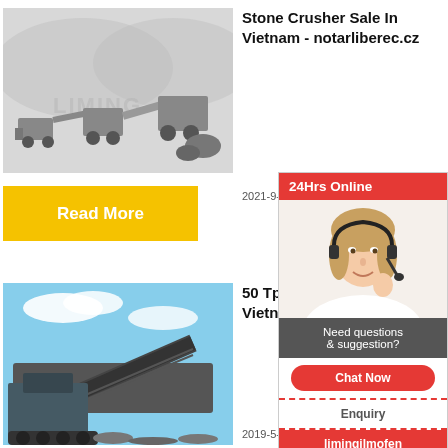[Figure (photo): Photo of stone crusher machines on a light background with LIMING watermark]
Stone Crusher Sale In Vietnam - notarliberec.cz
2021-9-1   Stone Crushin...
Read More
[Figure (photo): Photo of a large industrial crusher/conveyor machine against a blue sky]
50 Tph Types Of Crusher In Vietnam
2019-5-1
[Figure (infographic): Sidebar widget with 24Hrs Online header, photo of woman with headset, Need questions & suggestion text, Chat Now button, Enquiry link, limingjlmofen link]